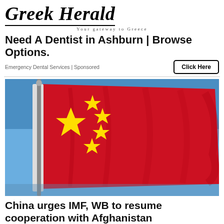Greek Herald — Your gateway to Greece
Need A Dentist in Ashburn | Browse Options.
Emergency Dental Services | Sponsored
[Figure (photo): Chinese national flag waving against a blue sky, mounted on a flagpole]
China urges IMF, WB to resume cooperation with Afghanistan